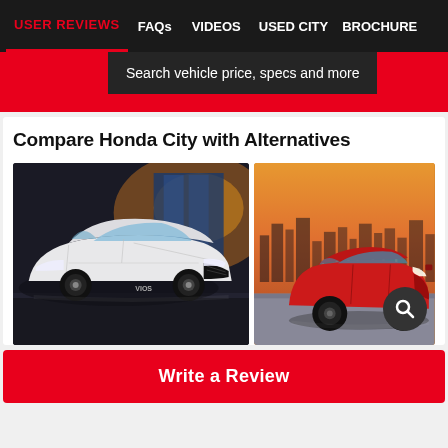USER REVIEWS | FAQs | VIDEOS | USED CITY | BROCHURE
Search vehicle price, specs and more
Compare Honda City with Alternatives
[Figure (photo): White Toyota Vios/Yaris sedan car in dark studio setting with industrial background and warm lighting]
[Figure (photo): Red SUV/crossover car on rooftop with city skyline and sunset background]
Write a Review